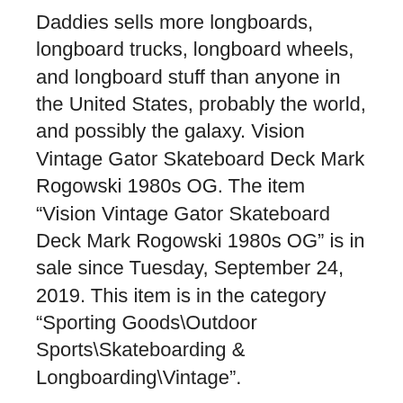Daddies sells more longboards, longboard trucks, longboard wheels, and longboard stuff than anyone in the United States, probably the world, and possibly the galaxy. Vision Vintage Gator Skateboard Deck Mark Rogowski 1980s OG. The item “Vision Vintage Gator Skateboard Deck Mark Rogowski 1980s OG” is in sale since Tuesday, September 24, 2019. This item is in the category “Sporting Goods\Outdoor Sports\Skateboarding & Longboarding\Vintage”.
Be PVM:89.00€. Į kreпšelį. Pageidauti Palyginti.
Lyrisk aria
The idea behind our Longboard wrap: to catch more rays. Without glare and harmful UV. In classic surf style. Shop Target for Vision Skateboards you